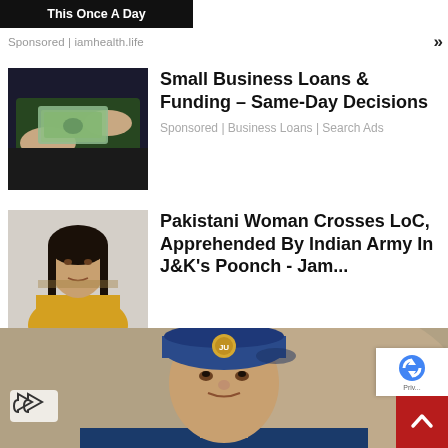[Figure (photo): Black banner with white text 'This Once A Day']
Sponsored | iamhealth.life
[Figure (photo): Hands exchanging dollar bills - money/loan imagery]
Small Business Loans & Funding – Same-Day Decisions
Sponsored | Business Loans | Search Ads
[Figure (photo): Pakistani woman in yellow clothing looking at camera]
Pakistani Woman Crosses LoC, Apprehended By Indian Army In J&K's Poonch - Jam...
[Figure (photo): Woman in blue police/military beret and uniform with badge]